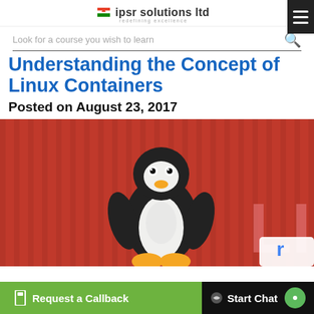ipsr solutions ltd — redefining excellence
Look for a course you wish to learn
Understanding the Concept of Linux Containers
Posted on August 23, 2017
[Figure (illustration): A cartoon Linux Tux penguin mascot sitting in front of a red shipping container with the letters 'LI' visible, representing Linux Containers.]